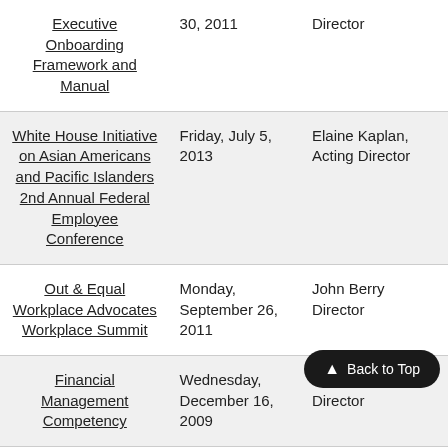| Event | Date | Speaker |
| --- | --- | --- |
| Executive Onboarding Framework and Manual | 30, 2011 | Director |
| White House Initiative on Asian Americans and Pacific Islanders 2nd Annual Federal Employee Conference | Friday, July 5, 2013 | Elaine Kaplan, Acting Director |
| Out & Equal Workplace Advocates Workplace Summit | Monday, September 26, 2011 | John Berry Director |
| Financial Management Competency | Wednesday, December 16, 2009 | John Berry, Director |